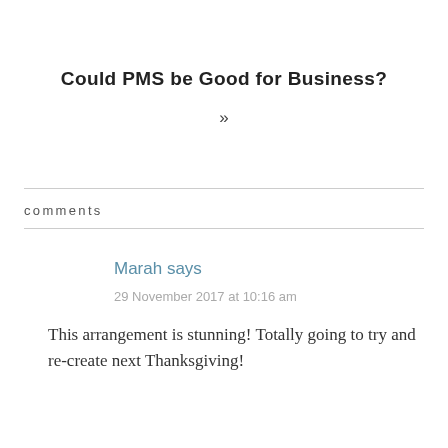Could PMS be Good for Business?
»
comments
Marah says
29 November 2017 at 10:16 am
This arrangement is stunning! Totally going to try and re-create next Thanksgiving!